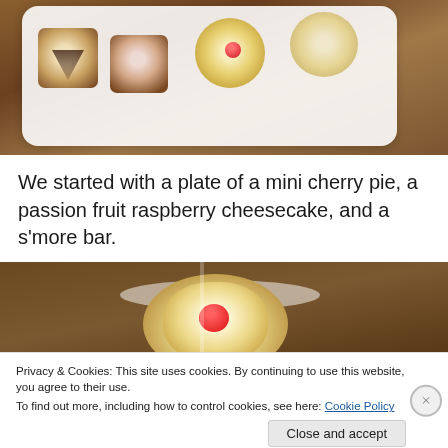[Figure (photo): Overhead view of a white rectangular plate with assorted mini desserts including swirled pastries with chocolate drizzle and a flower-shaped tart topped with a raspberry, on a wooden table background.]
We started with a plate of a mini cherry pie, a passion fruit raspberry cheesecake, and a s'more bar.
[Figure (photo): Close-up of a flower-shaped tart with piped cream topping and a fresh raspberry in the center, on a wooden surface.]
Privacy & Cookies: This site uses cookies. By continuing to use this website, you agree to their use.
To find out more, including how to control cookies, see here: Cookie Policy
Close and accept